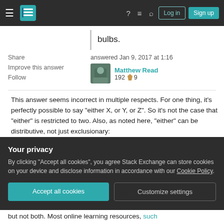Stack Exchange navigation header with hamburger menu, logo, help, chat, search icons, Log in and Sign up buttons
bulbs.
Share
Improve this answer
Follow
answered Jan 9, 2017 at 1:16
Matthew Read
192 9
This answer seems incorrect in multiple respects. For one thing, it's perfectly possible to say "either X, or Y, or Z". So it's not the case that "either" is restricted to two. Also, as noted here, "either" can be distributive, not just exclusionary:
Your privacy
By clicking "Accept all cookies", you agree Stack Exchange can store cookies on your device and disclose information in accordance with our Cookie Policy.
Accept all cookies
Customize settings
but not both. Most online learning resources, such